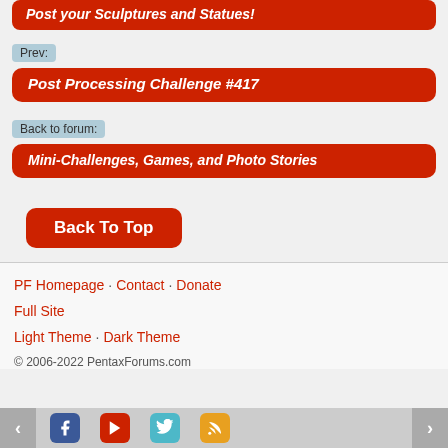Post your Sculptures and Statues!
Prev:
Post Processing Challenge #417
Back to forum:
Mini-Challenges, Games, and Photo Stories
Back To Top
PF Homepage · Contact · Donate
Full Site
Light Theme · Dark Theme
© 2006-2022 PentaxForums.com